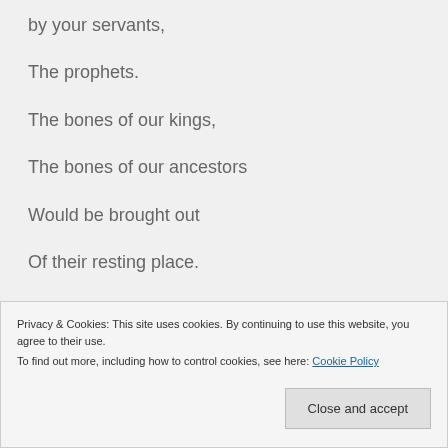by your servants,
The prophets.
The bones of our kings,
The bones of our ancestors
Would be brought out
Of their resting place.
Privacy & Cookies: This site uses cookies. By continuing to use this website, you agree to their use. To find out more, including how to control cookies, see here: Cookie Policy